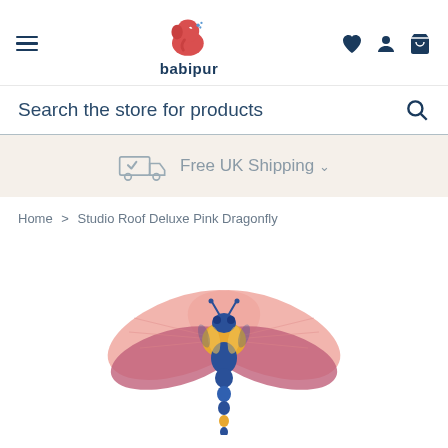babipur — navigation header with hamburger menu, logo, heart/account/bag icons
Search the store for products
Free UK Shipping ∨
Home > Studio Roof Deluxe Pink Dragonfly
[Figure (photo): Studio Roof Deluxe Pink Dragonfly 3D paper craft model — a colourful dragonfly with pink and rose wings, orange/yellow body markings, blue metallic body and abdomen segments, shown from above on white background]